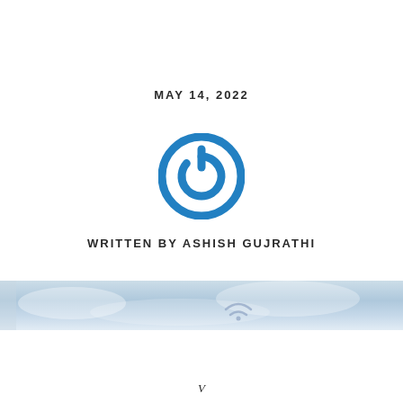MAY 14, 2022
[Figure (logo): Blue circular power button icon]
WRITTEN BY ASHISH GUJRATHI
[Figure (photo): Sky/cloud background banner strip with wifi icon]
V